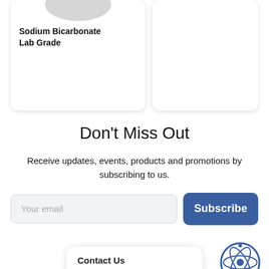[Figure (photo): Product card showing Sodium Bicarbonate Lab Grade with pill/tablet shape image on top]
Don't Miss Out
Receive updates, events, products and promotions by subscribing to us.
Your email [input field] Subscribe [button]
LEARN ABOUT US
[Figure (illustration): Contact Us chat bubble with text 'How may I help you today?' and atom/science logo icon]